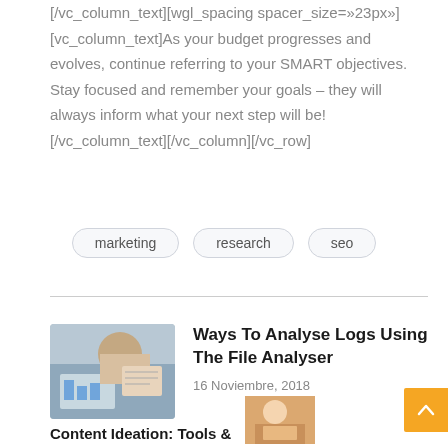[/vc_column_text][wgl_spacing spacer_size=»23px»][vc_column_text]As your budget progresses and evolves, continue referring to your SMART objectives. Stay focused and remember your goals – they will always inform what your next step will be![/vc_column_text][/vc_column][/vc_row]
marketing
research
seo
[Figure (photo): Photo of a person working at a desk with charts/documents]
Ways To Analyse Logs Using The File Analyser
16 Noviembre, 2018
Content Ideation: Tools &